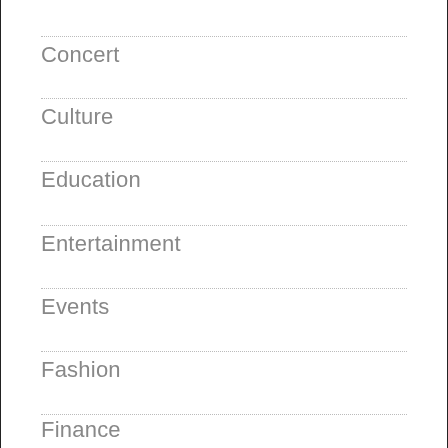Concert
Culture
Education
Entertainment
Events
Fashion
Finance